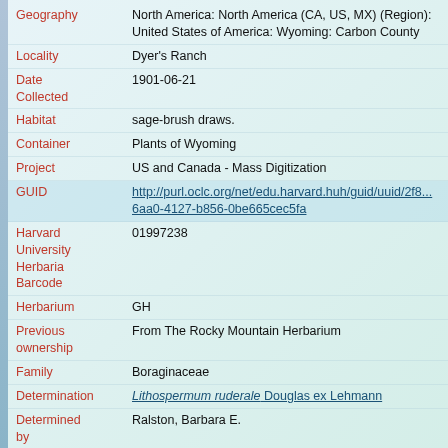| Field | Value |
| --- | --- |
| Geography | North America: North America (CA, US, MX) (Region): United States of America: Wyoming: Carbon County |
| Locality | Dyer's Ranch |
| Date Collected | 1901-06-21 |
| Habitat | sage-brush draws. |
| Container | Plants of Wyoming |
| Project | US and Canada - Mass Digitization |
| GUID | http://purl.oclc.org/net/edu.harvard.huh/guid/uuid/2f8...6aa0-4127-b856-0be665cec5fa |
| Harvard University Herbaria Barcode | 01997238 |
| Herbarium | GH |
| Previous ownership | From The Rocky Mountain Herbarium |
| Family | Boraginaceae |
| Determination | Lithospermum ruderale Douglas ex Lehmann |
| Determined by | Ralston, Barbara E. |
| Date | 1994-05-10 |